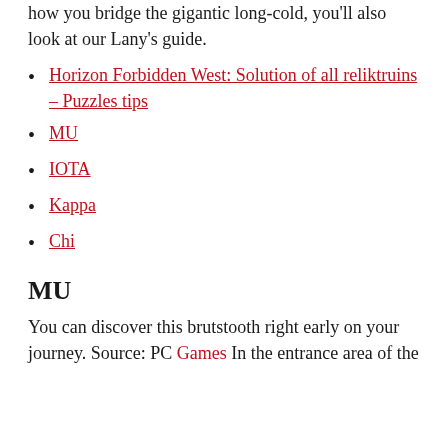how you bridge the gigantic long-cold, you'll also look at our Lany's guide.
Horizon Forbidden West: Solution of all reliktruins – Puzzles tips
MU
IOTA
Kappa
Chi
MU
You can discover this brutstooth right early on your journey. Source: PC Games In the entrance area of the